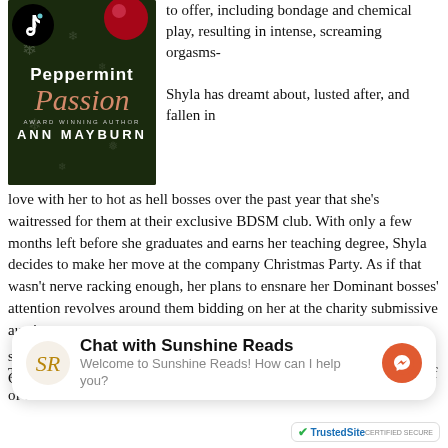[Figure (illustration): Book cover for 'Peppermint Passion' by Ann Mayburn with TikTok logo overlay]
to offer, including bondage and chemical play, resulting in intense, screaming orgasms-
Shyla has dreamt about, lusted after, and fallen in love with her to hot as hell bosses over the past year that she's waitressed for them at their exclusive BDSM club. With only a few months left before she graduates and earns her teaching degree, Shyla decides to make her move at the company Christmas Party. As if that wasn't nerve racking enough, her plans to ensnare her Dominant bosses' attention revolves around them bidding on her at the charity submissive auction.
Trent and Jack have been fighting a losing battle to keep their hands off of their beautiful and innocent employee
submissive inclinations. When she surprises them arriving at their Christmas party dressed like a we
Chat with Sunshine Reads
Welcome to Sunshine Reads! How can I help you?
[Figure (logo): TrustedSite badge]